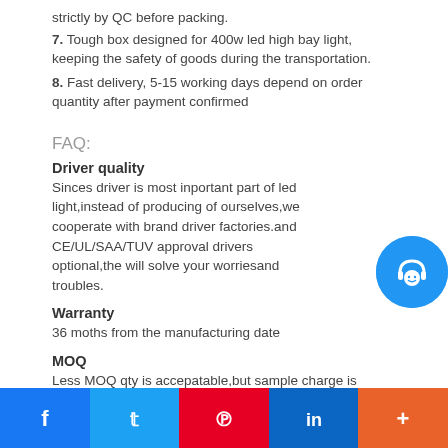strictly by QC before packing.
7. Tough box designed for 400w led high bay light, keeping the safety of goods during the transportation.
8. Fast delivery, 5-15 working days depend on order quantity after payment confirmed
FAQ:
Driver quality
Sinces driver is most inportant part of led light,instead of producing of ourselves,we cooperate with brand driver factories.and CE/UL/SAA/TUV approval drivers optional,the will solve your worriesand troubles.
Warranty
36 moths from the manufacturing date
MOQ
Less MOQ qty is accepatable,but sample charge is needed
Packaging
Neutral white box,customized box is welcome...